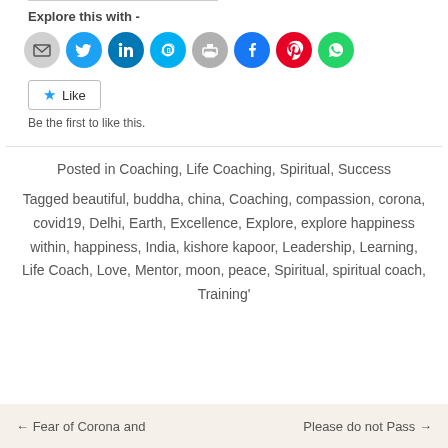Explore this with -
[Figure (infographic): Row of social media share icons: email (grey), Twitter (blue), LinkedIn (dark blue), Skype (light blue), print (grey), Facebook (dark blue), Pinterest (red), WhatsApp (green)]
Like
Be the first to like this.
Posted in Coaching, Life Coaching, Spiritual, Success
Tagged beautiful, buddha, china, Coaching, compassion, corona, covid19, Delhi, Earth, Excellence, Explore, explore happiness within, happiness, India, kishore kapoor, Leadership, Learning, Life Coach, Love, Mentor, moon, peace, Spiritual, spiritual coach, Training'
Fear of Corona and   Please do not Pass